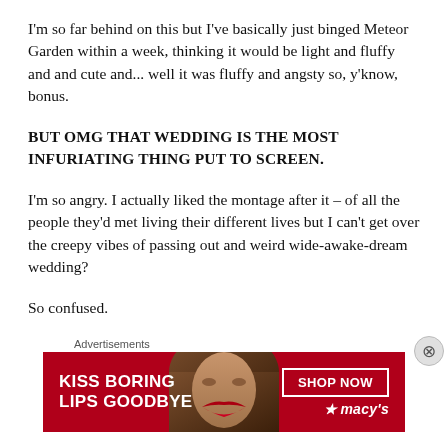I'm so far behind on this but I've basically just binged Meteor Garden within a week, thinking it would be light and fluffy and and cute and... well it was fluffy and angsty so, y'know, bonus.
BUT OMG THAT WEDDING IS THE MOST INFURIATING THING PUT TO SCREEN.
I'm so angry. I actually liked the montage after it – of all the people they'd met living their different lives but I can't get over the creepy vibes of passing out and weird wide-awake-dream wedding?
So confused.
[Figure (photo): Advertisement banner for Macy's lip products. Red background with text 'KISS BORING LIPS GOODBYE', a close-up photo of a woman's face with red lips, a 'SHOP NOW' button, and the Macy's star logo.]